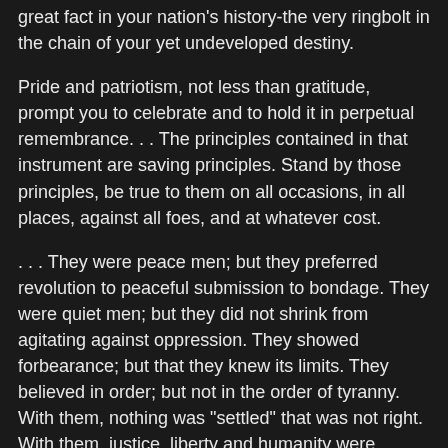great fact in your nation's history-the very ringbolt in the chain of your yet undeveloped destiny.
Pride and patriotism, not less than gratitude, prompt you to celebrate and to hold it in perpetual remembrance. . . The principles contained in that instrument are saving principles. Stand by those principles, be true to them on all occasions, in all places, against all foes, and at whatever cost.
. . . They were peace men; but they preferred revolution to peaceful submission to bondage. They were quiet men; but they did not shrink from agitating against oppression. They showed forbearance; but that they knew its limits. They believed in order; but not in the order of tyranny. With them, nothing was "settled" that was not right. With them, justice, liberty and humanity were "final"; not slavery and oppression. You may well cherish the memory of such men. They were great in their day and generation. Their solid manhood stands out the more as we contrast it with these degenerate times.